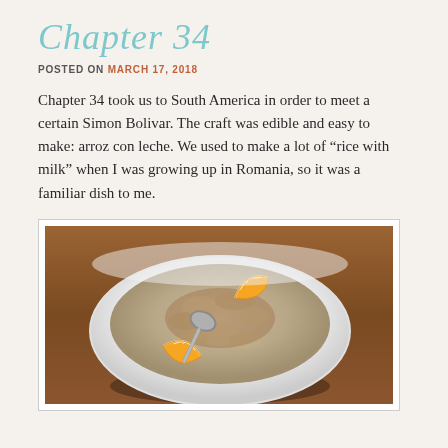Chapter 34
POSTED ON MARCH 17, 2018
Chapter 34 took us to South America in order to meet a certain Simon Bolivar. The craft was edible and easy to make: arroz con leche. We used to make a lot of “rice with milk” when I was growing up in Romania, so it was a familiar dish to me.
[Figure (photo): A white bowl filled with arroz con leche (rice pudding) topped with cinnamon and garnished with two orange slices, with a spoon inside, on a wooden table background.]